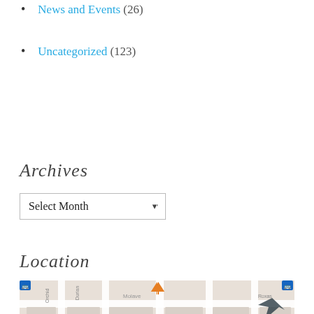News and Events (26)
Uncategorized (123)
Archives
Select Month
Location
[Figure (map): Street map showing area around Philippine Women's College of Davao, Museo Dabawenyo, Blue Lotus, with street names Durian, Orchid, Molave, Roxas, Acacia, Mangga, Aguh; various map pins and bus icons visible.]